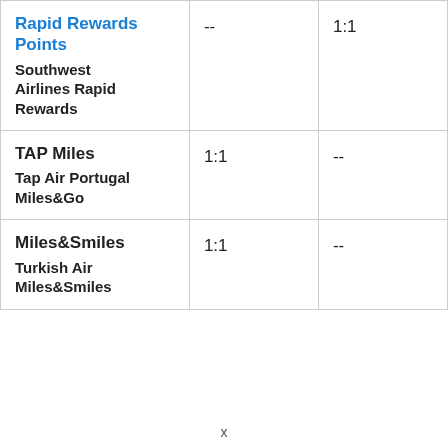| Rapid Rewards Points
Southwest Airlines Rapid Rewards | -- | 1:1 |
| TAP Miles
Tap Air Portugal Miles&Go | 1:1 | -- |
| Miles&Smiles
Turkish Air Miles&Smiles | 1:1 | -- |